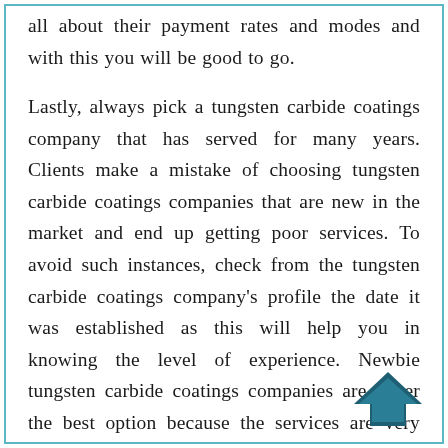all about their payment rates and modes and with this you will be good to go.
Lastly, always pick a tungsten carbide coatings company that has served for many years. Clients make a mistake of choosing tungsten carbide coatings companies that are new in the market and end up getting poor services. To avoid such instances, check from the tungsten carbide coatings company's profile the date it was established as this will help you in knowing the level of experience. Newbie tungsten carbide coatings companies are never the best option because the services are very poor since they are being handled by unskilled staff members who have no experience. For excellent services, one needs to choose a tungsten carbide
[Figure (illustration): A dark teal/navy upward-pointing chevron arrow icon in the bottom-right corner of the page.]